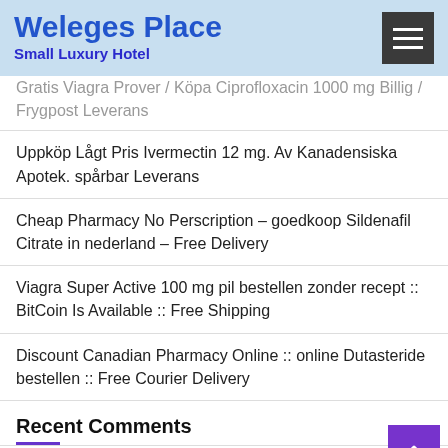Weleges Place
Small Luxury Hotel
Gratis Viagra Prover / Köpa Ciprofloxacin 1000 mg Billig / Frygpost Leverans
Uppköp Lågt Pris Ivermectin 12 mg. Av Kanadensiska Apotek. spårbar Leverans
Cheap Pharmacy No Perscription – goedkoop Sildenafil Citrate in nederland – Free Delivery
Viagra Super Active 100 mg pil bestellen zonder recept :: BitCoin Is Available :: Free Shipping
Discount Canadian Pharmacy Online :: online Dutasteride bestellen :: Free Courier Delivery
Recent Comments
A WordPress Commenter on Hello world!